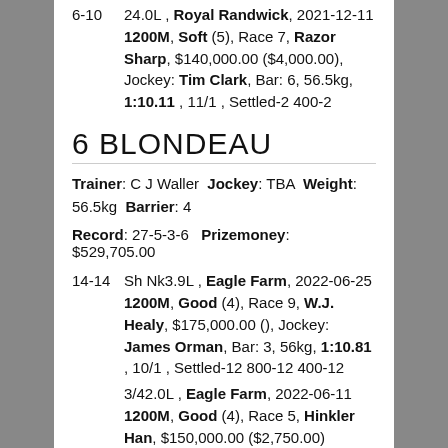24.0L , Royal Randwick, 2021-12-11 1200M, Soft (5), Race 7, Razor Sharp, $140,000.00 ($4,000.00), Jockey: Tim Clark, Bar: 6, 56.5kg, 1:10.11 , 11/1 , Settled-2 400-2
6 BLONDEAU
Trainer: C J Waller  Jockey: TBA  Weight: 56.5kg  Barrier: 4
Record: 27-5-3-6   Prizemoney: $529,705.00
Sh Nk3.9L , Eagle Farm, 2022-06-25 1200M, Good (4), Race 9, W.J. Healy, $175,000.00 (), Jockey: James Orman, Bar: 3, 56kg, 1:10.81 , 10/1 , Settled-12 800-12 400-12
3/42.0L , Eagle Farm, 2022-06-11 1200M, Good (4), Race 5, Hinkler Han, $150,000.00 ($2,750.00)